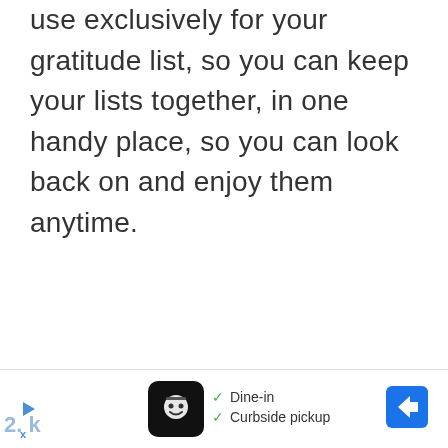use exclusively for your gratitude list, so you can keep your lists together, in one handy place, so you can look back on and enjoy them anytime.
[Figure (screenshot): Advertisement bar at bottom of page showing a restaurant app icon, checkmarks for Dine-in and Curbside pickup options, a navigation arrow icon, and partially visible '2. k' text with play/close controls on the left.]